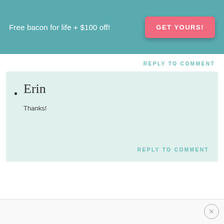Free bacon for life + $100 off!
GET YOURS!
REPLY TO COMMENT
Erin
Thanks!
REPLY TO COMMENT